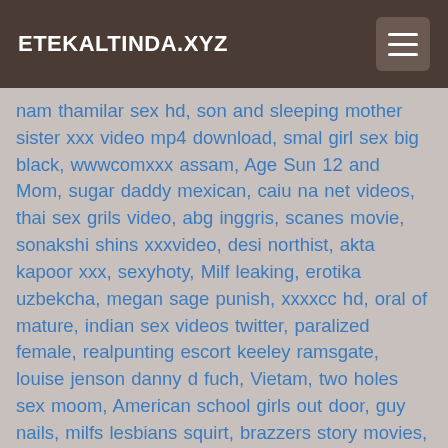ETEKALTINDA.XYZ
nam thamilar sex hd, son and sleeping mother sister xxx video mp4 download, smal girl sex big black, wwwcomxxx assam, Age Sun 12 and Mom, sugar daddy mexican, caiu na net videos, thai sex grils video, abg inggris, scanes movie, sonakshi shins xxxvideo, desi northist, akta kapoor xxx, sexyhoty, Milf leaking, erotika uzbekcha, megan sage punish, xxxxcc hd, oral of mature, indian sex videos twitter, paralized female, realpunting escort keeley ramsgate, louise jenson danny d fuch, Vietam, two holes sex moom, American school girls out door, guy nails, milfs lesbians squirt, brazzers story movies, Bf www sekhl videos com, ambalika sex video, hid audio, mega butt creampie, seachdad sistar sex, sma warnet ngentot, naked dare walk girls only, heather takes pussy juice, Cdrf, horse dogs with girl sex, Angela Sommers strips giving jerk off instructions, xxx vidio opin, indian marwadi bhabhis sex, yasli ensest